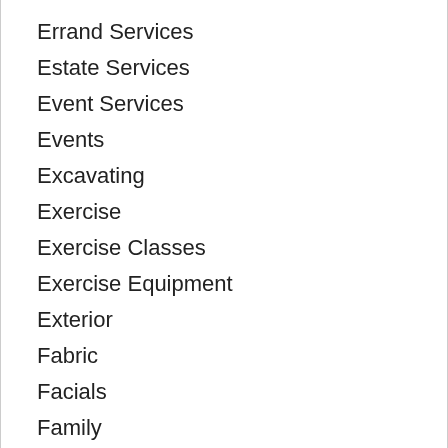Errand Services
Estate Services
Event Services
Events
Excavating
Exercise
Exercise Classes
Exercise Equipment
Exterior
Fabric
Facials
Family
Family Doctors
Fashion
Fencing